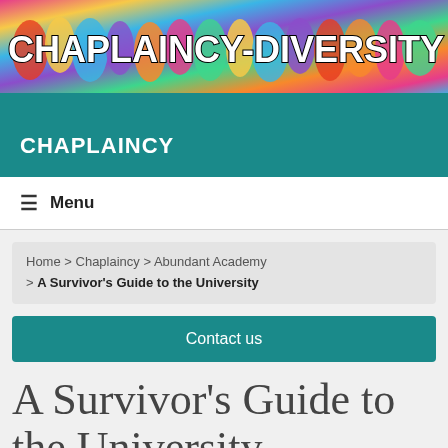[Figure (illustration): Colorful banner with diverse illustrated figures and text 'CHAPLAINCY-DIVERSITY' in bold white outlined letters]
CHAPLAINCY
☰  Menu
Home > Chaplaincy > Abundant Academy > A Survivor's Guide to the University
Contact us
A Survivor's Guide to the University